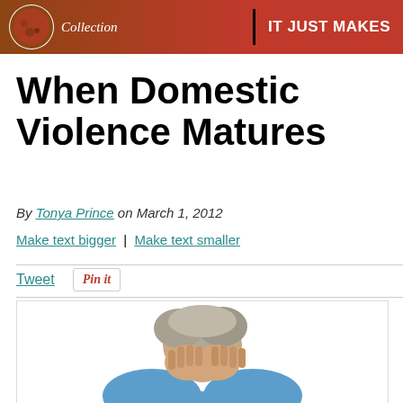[Figure (photo): Banner advertisement with brown/red background showing 'Collection' text in italic white and 'IT JUST MAKES' in bold white uppercase on red right side]
When Domestic Violence Matures
By Tonya Prince on March 1, 2012
Make text bigger | Make text smaller
Tweet   Pin it
[Figure (photo): Elderly woman with grey hair holding her face in her hands, wearing a blue top, appearing distressed]